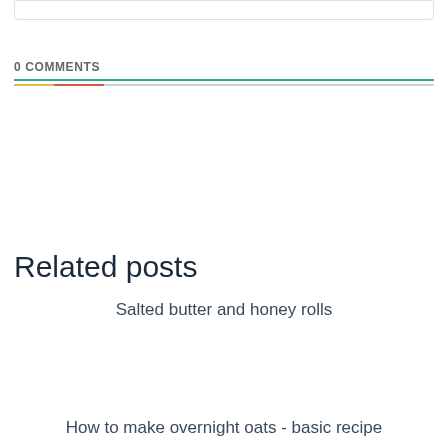0 COMMENTS
Related posts
Salted butter and honey rolls
How to make overnight oats - basic recipe